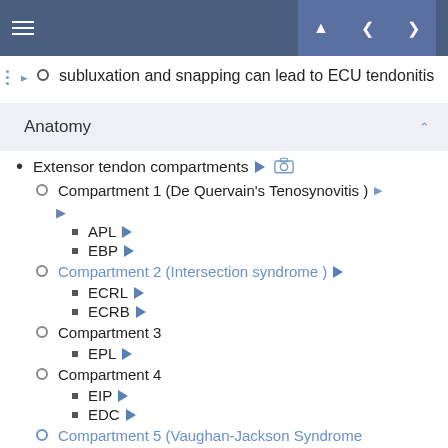Navigation header with hamburger menu and navigation arrows
subluxation and snapping can lead to ECU tendonitis
Anatomy
Extensor tendon compartments
Compartment 1 (De Quervain's Tenosynovitis )
APL
EBP
Compartment 2 (Intersection syndrome )
ECRL
ECRB
Compartment 3
EPL
Compartment 4
EIP
EDC
Compartment 5 (Vaughan-Jackson Syndrome